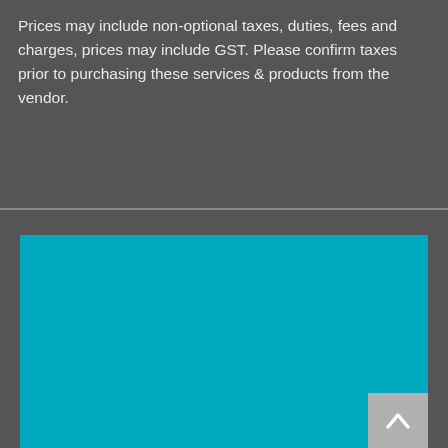Prices may include non-optional taxes, duties, fees and charges, prices may include GST. Please confirm taxes prior to purchasing these services & products from the vendor.
[Figure (other): Large teal/cyan colored rectangle filling the lower portion of the page, with a gray scroll-to-top button in the bottom-right corner containing an upward-pointing chevron arrow.]